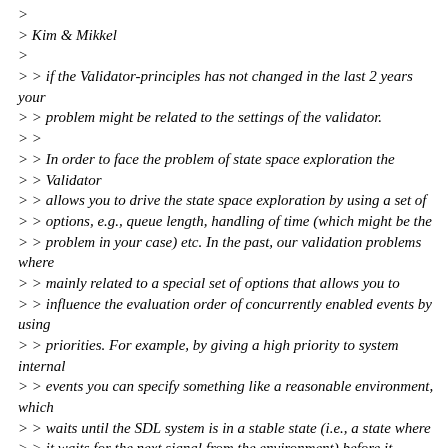>
> Kim & Mikkel
>
> > if the Validator-principles has not changed in the last 2 years your
> > problem might be related to the settings of the validator.
> >
> > In order to face the problem of state space exploration the > > Validator
> > allows you to drive the state space exploration by using a set of
> > options, e.g., queue length, handling of time (which might be the
> > problem in your case) etc. In the past, our validation problems where
> > mainly related to a special set of options that allows you to
> > influence the evaluation order of concurrently enabled events by using
> > priorities. For example, by giving a high priority to system internal
> > events you can specify something like a reasonable environment, which
> > waits until the SDL system is in a stable state (i.e., a state where
> > it waits for the next signal from the environment) before it